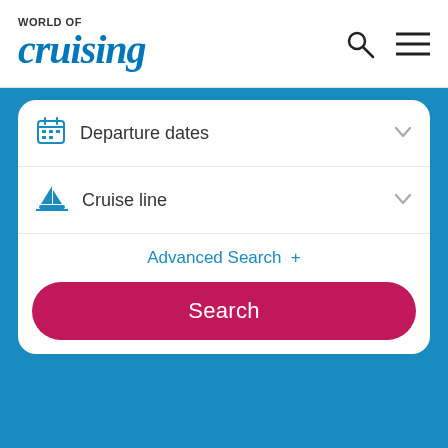[Figure (screenshot): World of Cruising website logo with 'WORLD OF' in small caps and 'cruising' in large italic blue serif font]
[Figure (screenshot): Navigation icons: search (magnifying glass) and hamburger menu (three horizontal lines)]
Departure dates
Cruise line
Advanced Search +
Search